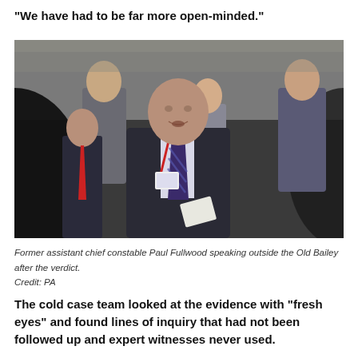"We have had to be far more open-minded."
[Figure (photo): Former assistant chief constable Paul Fullwood speaking outside the Old Bailey after the verdict, surrounded by other people in a crowd. He wears a suit with a red lanyard and striped tie.]
Former assistant chief constable Paul Fullwood speaking outside the Old Bailey after the verdict.
Credit: PA
The cold case team looked at the evidence with “fresh eyes” and found lines of inquiry that had not been followed up and expert witnesses never used.